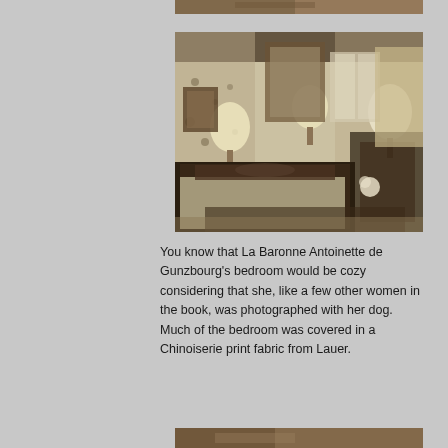[Figure (photo): Partial view of a bedroom photo at the top of the page, cropped]
[Figure (photo): Interior bedroom photo showing an ornate bedroom with Chinoiserie print fabric covering walls and furnishings, dark wood bed frame, lamps, mirrors, and decorative items]
You know that La Baronne Antoinette de Gunzbourg's bedroom would be cozy considering that she, like a few other women in the book, was photographed with her dog. Much of the bedroom was covered in a Chinoiserie print fabric from Lauer.
[Figure (photo): Partial view of another bedroom photo at the bottom of the page, cropped]